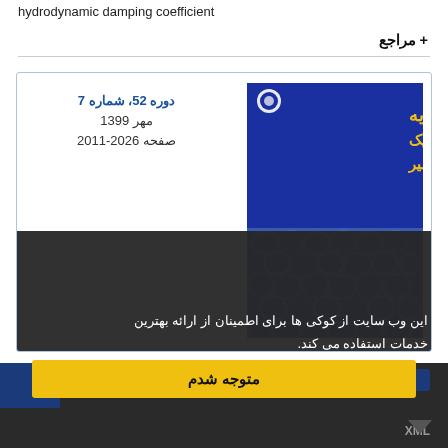hydrodynamic damping coefficient
+ مراجع
[Figure (screenshot): Journal card for 'نشریه مهندسی مکانیک امیرکبیر' showing volume 52, issue 7, Mehr 1399, pages 2011-2026, with journal cover image featuring blue geometric pattern, overlaid with a dark cookie consent banner with yellow 'متوجه شدم' button]
این وب سایت از کوکی ها برای اطمینان از ارائه بهترین خدمات استفاده می کند.
متوجه شدم